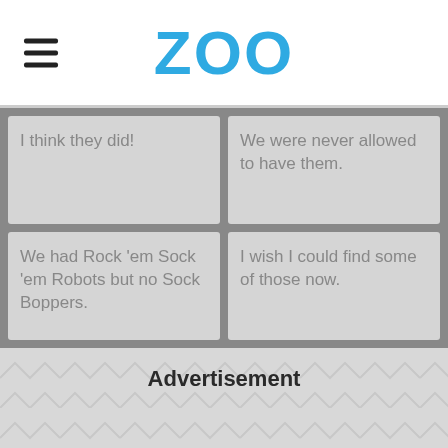ZOO
I think they did!
We were never allowed to have them.
We had Rock 'em Sock 'em Robots but no Sock Boppers.
I wish I could find some of those now.
Advertisement